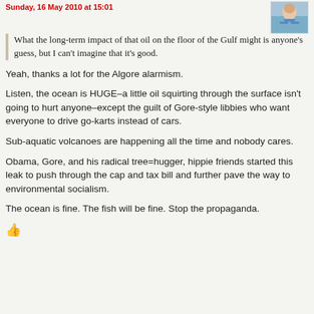Sunday, 16 May 2010 at 15:01
[Figure (photo): Thumbnail photo of a woman in a bikini at a beach]
What the long-term impact of that oil on the floor of the Gulf might is anyone’s guess, but I can’t imagine that it’s good.
Yeah, thanks a lot for the Algore alarmism.
Listen, the ocean is HUGE–a little oil squirting through the surface isn’t going to hurt anyone–except the guilt of Gore-style libbies who want everyone to drive go-karts instead of cars.
Sub-aquatic volcanoes are happening all the time and nobody cares.
Obama, Gore, and his radical tree=hugger, hippie friends started this leak to push through the cap and tax bill and further pave the way to environmental socialism.
The ocean is fine. The fish will be fine. Stop the propaganda.